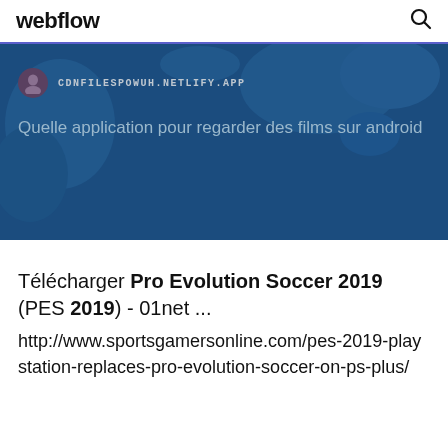webflow
[Figure (screenshot): Blue hero banner with world map background showing a site badge with CDNFILESPOWUH.NETLIFY.APP and the text 'Quelle application pour regarder des films sur android']
Télécharger Pro Evolution Soccer 2019 (PES 2019) - 01net ...
http://www.sportsgamersonline.com/pes-2019-playstation-replaces-pro-evolution-soccer-on-ps-plus/